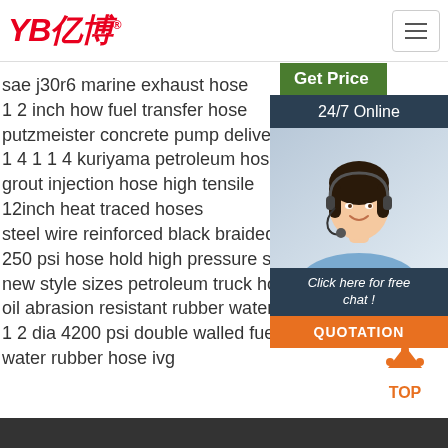YB亿博 [logo] | hamburger menu
[Figure (infographic): Sidebar with Get Price button, 24/7 Online banner, customer service agent photo, Click here for free chat text, and QUOTATION button]
sae j30r6 marine exhaust hose
1 2 inch how fuel transfer hose
putzmeister concrete pump delivery hose
1 4 1 1 4 kuriyama petroleum hose
grout injection hose high tensile
12inch heat traced hoses
steel wire reinforced black braided radiator hose
250 psi hose hold high pressure steam
new style sizes petroleum truck hoses
oil abrasion resistant rubber water delivery hose
1 2 dia 4200 psi double walled fuel hose
water rubber hose ivg